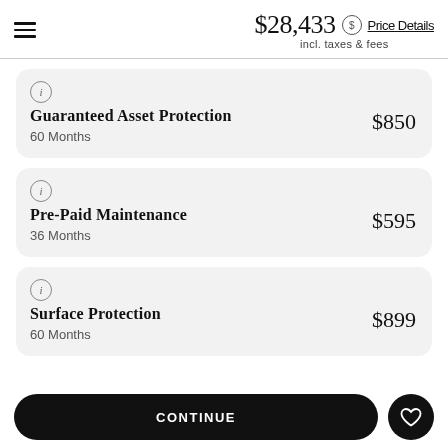$28,433 incl. taxes & fees — Price Details
Guaranteed Asset Protection — $850 — 60 Months
Pre-Paid Maintenance — $595 — 36 Months
Surface Protection — $899 — 60 Months
CONTINUE